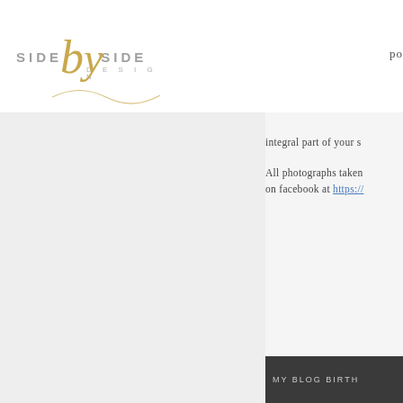[Figure (logo): Side by Side Design logo with cursive golden 'by' script and grey sans-serif 'SIDE SIDE' text, 'DESIGN' in small caps below]
po
[Figure (photo): Large light grey/white photo panel on the left side of the page]
integral part of your s
All photographs taken on facebook at https://
MY BLOG BIRTH